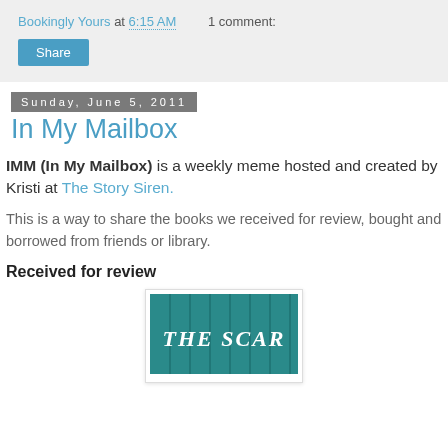Bookingly Yours at 6:15 AM   1 comment:
Share
Sunday, June 5, 2011
In My Mailbox
IMM (In My Mailbox) is a weekly meme hosted and created by Kristi at The Story Siren.
This is a way to share the books we received for review, bought and borrowed from friends or library.
Received for review
[Figure (photo): Book cover showing 'THE SCAR' in white handwritten text on a teal/dark background]